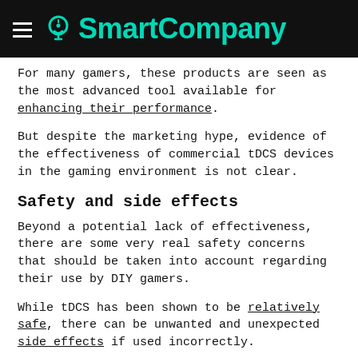SmartCompany
For many gamers, these products are seen as the most advanced tool available for enhancing their performance.
But despite the marketing hype, evidence of the effectiveness of commercial tDCS devices in the gaming environment is not clear.
Safety and side effects
Beyond a potential lack of effectiveness, there are some very real safety concerns that should be taken into account regarding their use by DIY gamers.
While tDCS has been shown to be relatively safe, there can be unwanted and unexpected side effects if used incorrectly.